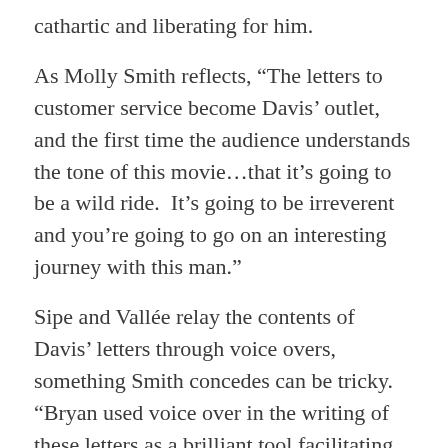cathartic and liberating for him.
As Molly Smith reflects, “The letters to customer service become Davis’ outlet, and the first time the audience understands the tone of this movie…that it’s going to be a wild ride. It’s going to be irreverent and you’re going to go on an interesting journey with this man.”
Sipe and Vallée relay the contents of Davis’ letters through voice overs, something Smith concedes can be tricky. “Bryan used voice over in the writing of these letters as a brilliant tool facilitating this journey in a really unconventional way. You realized he’s a guy who was kind of going through the motions in life. He’s a little bit numb and really hasn’t found himself and doesn’t know himself.”
Gyllenhaal further explains, “In the process of writing